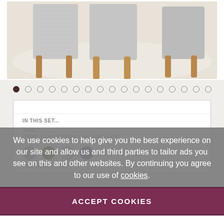[Figure (photo): Close-up of grey upholstered dining chairs with wooden oak legs on a light rug background]
Carousel navigation dots, 17 total, first one active/filled
IN THIS SET...
Table *
Oxford 70cm Extending Oak Dining Table
We use cookies to help give you the best experience on our site and allow us and third parties to tailor ads you see on this and other websites. By continuing you agree to our use of cookies.
ACCEPT COOKIES
CUSTOM SETTINGS
Selected Chair: Grey